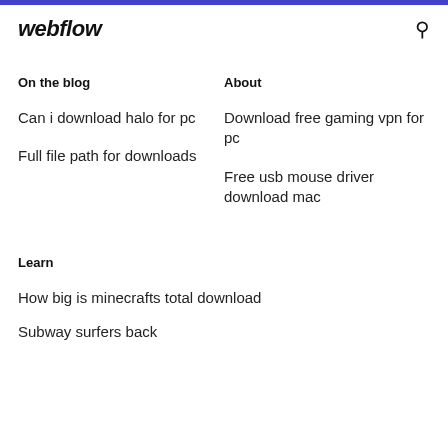webflow
On the blog
About
Can i download halo for pc
Download free gaming vpn for pc
Full file path for downloads
Free usb mouse driver download mac
Learn
How big is minecrafts total download
Subway surfers back